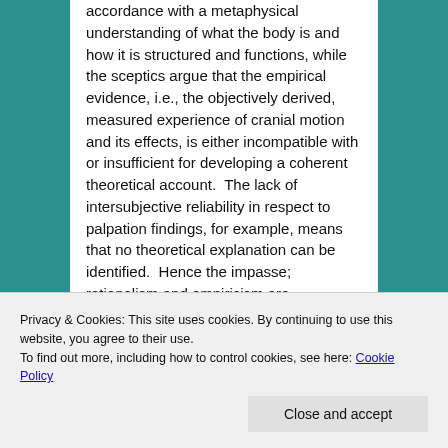accordance with a metaphysical understanding of what the body is and how it is structured and functions, while the sceptics argue that the empirical evidence, i.e., the objectively derived, measured experience of cranial motion and its effects, is either incompatible with or insufficient for developing a coherent theoretical account. The lack of intersubjective reliability in respect to palpation findings, for example, means that no theoretical explanation can be identified.  Hence the impasse; rationalism and empiricism are incompatible.
Works Best
Privacy & Cookies: This site uses cookies. By continuing to use this website, you agree to their use.
To find out more, including how to control cookies, see here: Cookie Policy